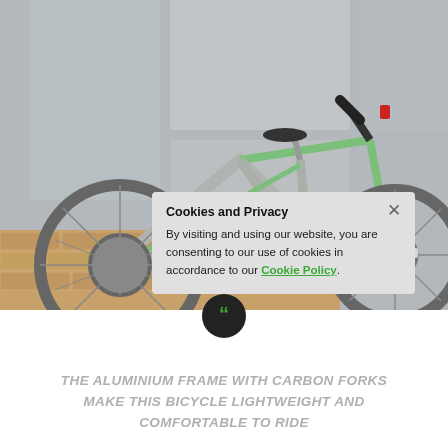[Figure (photo): A silver and green road bicycle leaning against a stone/concrete wall, showing the frame, wheels, handlebars, and pedals. Brick pavement visible at the bottom.]
Cookies and Privacy
By visiting and using our website, you are consenting to our use of cookies in accordance to our Cookie Policy.
THE ALUMINIUM FRAME WITH CARBON FORKS MAKE THIS BICYCLE LIGHTWEIGHT AND COMFORTABLE TO RIDE